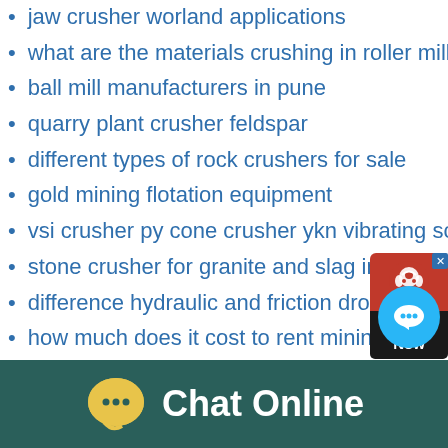jaw crusher worland applications
what are the materials crushing in roller mill
ball mill manufacturers in pune
quarry plant crusher feldspar
different types of rock crushers for sale
gold mining flotation equipment
vsi crusher py cone crusher ykn vibrating screen
stone crusher for granite and slag in russia
difference hydraulic and friction drop hammer in ludhiana india
how much does it cost to rent mining equipment
concrete crushing monterey bay ca
usine delution de lor pour lafrique du sud vente
mobile crusher ab
stone quarry equipment rental
stone crusher brand new philippines
[Figure (screenshot): Red 'Chat Now' popup widget in top-right corner]
[Figure (screenshot): Blue circular chat button in lower-right area]
[Figure (screenshot): Dark teal 'Chat Online' bar at bottom with yellow chat bubble icon]